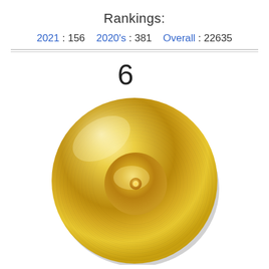Rankings:
2021 : 156    2020's : 381    Overall : 22635
6
[Figure (illustration): A gold vinyl record disc with shiny golden surface, grooves, and a center label, shown from a slightly angled top-down perspective.]